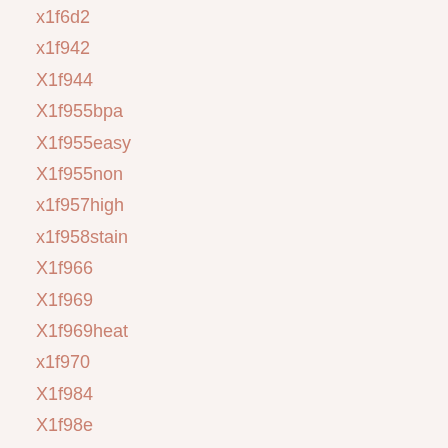x1f6d2
x1f942
X1f944
X1f955bpa
X1f955easy
X1f955non
x1f957high
x1f958stain
X1f966
X1f969
X1f969heat
x1f970
X1f984
X1f98e
x1f9e1